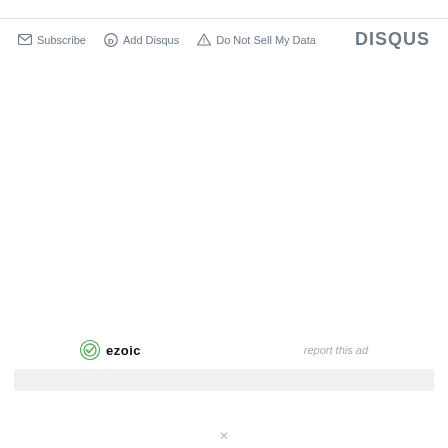Subscribe  Add Disqus  Do Not Sell My Data  DISQUS
[Figure (logo): Ezoic logo with green circular icon and 'ezoic' text in black bold]
report this ad